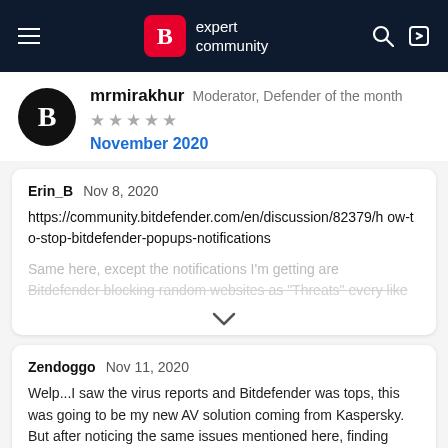B expert community
mrmirakhur  Moderator, Defender of the month
★★★★★
November 2020
Erin_B  Nov 8, 2020
https://community.bitdefender.com/en/discussion/82379/how-to-stop-bitdefender-popups-notifications
Same here, except the notifications I'm getting are
Bitdefender blocking random websites as "Threats" every like
Zendoggo  Nov 11, 2020
Welp...I saw the virus reports and Bitdefender was tops, this was going to be my new AV solution coming from Kaspersky. But after noticing the same issues mentioned here, finding